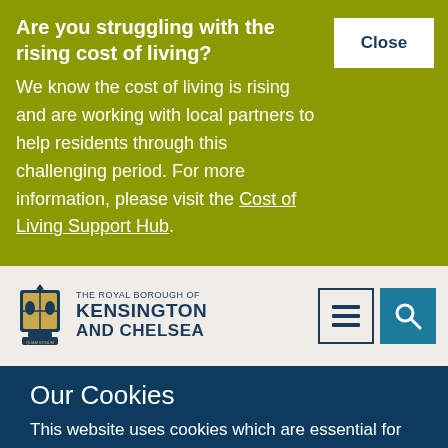Are you struggling with the rising cost of living?
We know the cost of living is rising and are working with local partners to help residents through this challenging period. For more information, please visit the Cost of Living Support Hub.
[Figure (logo): The Royal Borough of Kensington and Chelsea coat of arms crest logo with text]
[Figure (infographic): Navigation menu icon (hamburger) and search icon buttons]
Our Cookies
This website uses cookies which are essential for this site to work and to enhance your experience.